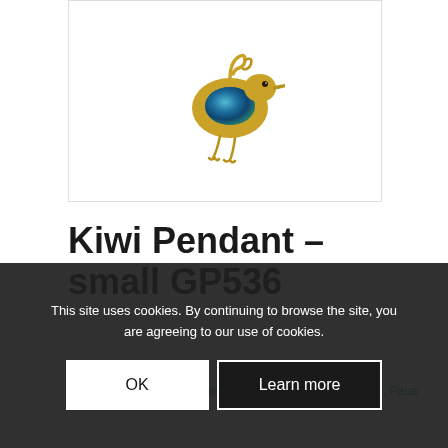[Figure (photo): A small gold kiwi bird pendant with blue paua shell inlay on the body, shown against a white background inside a bordered product image area.]
Kiwi Pendant – small GP536
USD49.60
This site uses cookies. By continuing to browse the site, you are agreeing to our use of cookies.
OK
Learn more
EAN: 9417613040031   Categories: Paua, Paua Gold Plate, Paua